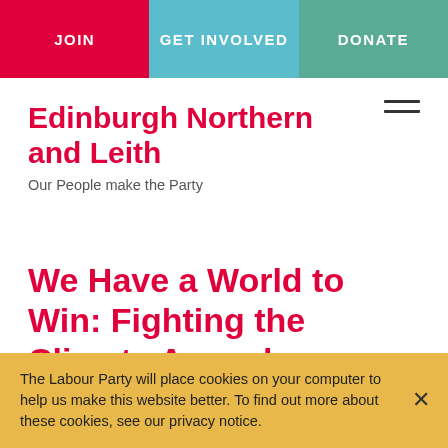JOIN   GET INVOLVED   DONATE
Edinburgh Northern and Leith
Our People make the Party
We Have a World to Win: Fighting the Climate Apocalypse
9th September, 2019
The Labour Party will place cookies on your computer to help us make this website better. To find out more about these cookies, see our privacy notice.